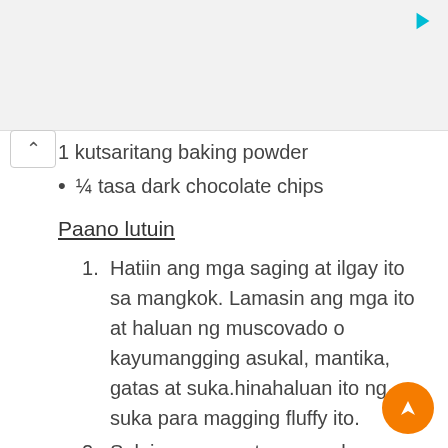[Figure (other): Gray advertisement banner area with a cyan play/send icon in the top right corner]
1 kutsaritang baking powder
¼ tasa dark chocolate chips
Paano lutuin
1. Hatiin ang mga saging at ilgay ito sa mangkok. Lamasin ang mga ito at haluan ng muscovado o kayumangging asukal, mantika, gatas at suka.hinahaluan ito ng suka para magging fluffy ito.
2. Salain ang mga tuyong sahog, whole wheat flour, cocoa, baking soda, baking powder. Haluin at ibuho ang basang mixture.